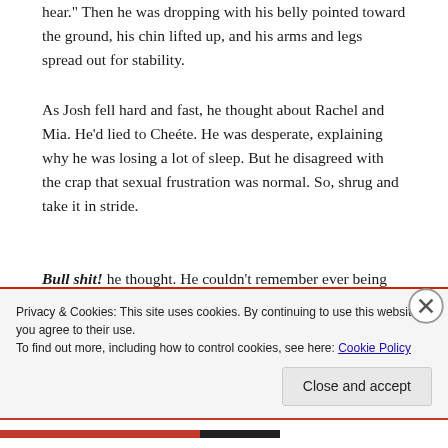hear.” Then he was dropping with his belly pointed toward the ground, his chin lifted up, and his arms and legs spread out for stability.
As Josh fell hard and fast, he thought about Rachel and Mia. He’d lied to Cheéte. He was desperate, explaining why he was losing a lot of sleep. But he disagreed with the crap that sexual frustration was normal. So, shrug and take it in stride.
Bull shit! he thought. He couldn’t remember ever being celibate this long before.
The temptation to keep both of his lovers, as Mia had
Privacy & Cookies: This site uses cookies. By continuing to use this website, you agree to their use.
To find out more, including how to control cookies, see here: Cookie Policy